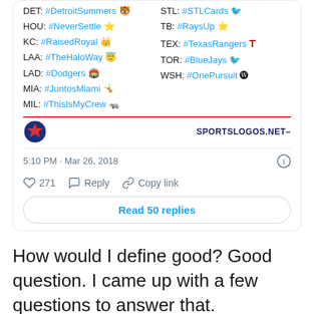[Figure (screenshot): Screenshot of a tweet showing MLB team hashtags in two columns, a sportslogos.net watermark bar, timestamp '5:10 PM · Mar 26, 2018', like count 271, Reply, Copy link actions, and a 'Read 50 replies' button.]
How would I define good? Good question. I came up with a few questions to answer that.
AD Lenovo Beautifully designed to just be you.